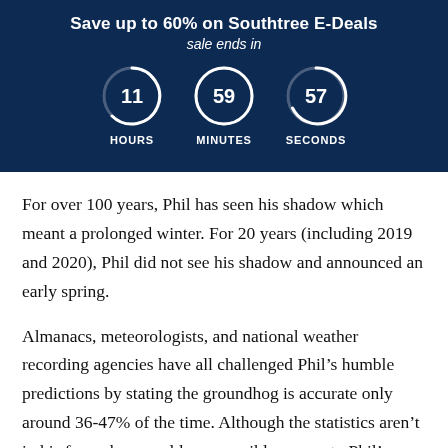Save up to 60% on Southtree E-Deals
sale ends in
11 HOURS  59 MINUTES  57 SECONDS
For over 100 years, Phil has seen his shadow which meant a prolonged winter. For 20 years (including 2019 and 2020), Phil did not see his shadow and announced an early spring.
Almanacs, meteorologists, and national weather recording agencies have all challenged Phil’s humble predictions by stating the groundhog is accurate only around 36-47% of the time. Although the statistics aren’t in his favor, how could you possibly say no to Phil’s adorable furry face?
Whether you choose to believe the tales of Punxsy Phil and